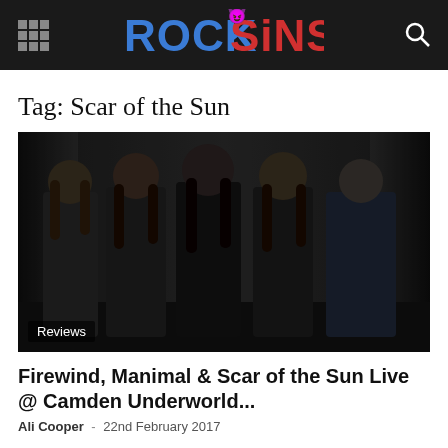ROCK SINS
Tag: Scar of the Sun
[Figure (photo): Five members of a rock band standing in a dark alleyway, all dressed in black clothing]
Reviews
Firewind, Manimal & Scar of the Sun Live @ Camden Underworld...
Ali Cooper  -  22nd February 2017